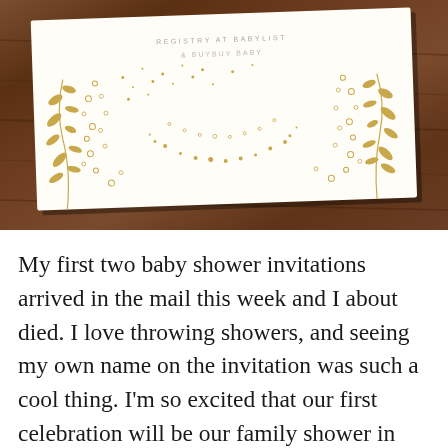[Figure (photo): A baby shower invitation card placed on a dark wood surface. The white card has gold botanical/floral illustrations along the bottom and sides, and text reading 'REGISTRY AT BABYLIST & BUYBUY BABY' in small gray letters.]
My first two baby shower invitations arrived in the mail this week and I about died. I love throwing showers, and seeing my own name on the invitation was such a cool thing. I'm so excited that our first celebration will be our family shower in just two weeks!